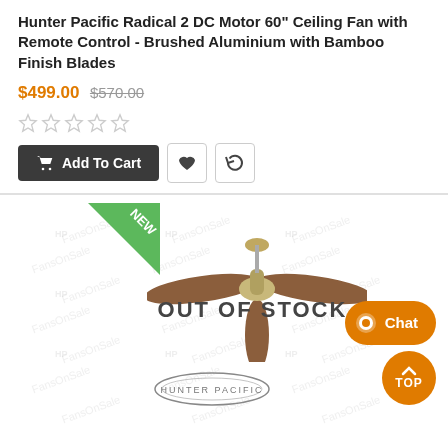Hunter Pacific Radical 2 DC Motor 60" Ceiling Fan with Remote Control - Brushed Aluminium with Bamboo Finish Blades
$499.00 $570.00
[Figure (other): Five empty star rating icons]
[Figure (other): Add To Cart button, heart icon button, refresh icon button]
[Figure (photo): Product image of Hunter Pacific Radical 2 DC Motor ceiling fan in brushed aluminium with bamboo finish blades. A green NEW badge is in the top left corner. OUT OF STOCK text overlays the image. FansOnSale watermark is repeated across the image. Hunter Pacific logo is at the bottom. Orange TOP button and orange Chat button are in the bottom right.]